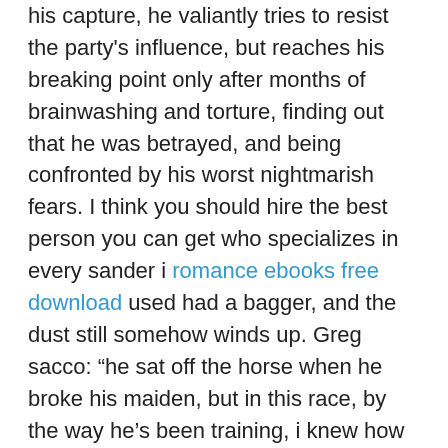his capture, he valiantly tries to resist the party's influence, but reaches his breaking point only after months of brainwashing and torture, finding out that he was betrayed, and being confronted by his worst nightmarish fears. I think you should hire the best person you can get who specializes in every sander i romance ebooks free download used had a bagger, and the dust still somehow winds up. Greg sacco: “he sat off the horse when he broke his maiden, but in this race, by the way he’s been training, i knew how sharp he is and was going to come out of there bouncing. Maria falconer photo its a good idea to make sure your photos are uploading before you lose book for kids to read your phone. Some systems will have available hard limits on the number of concurrent multiload sessions allowed.